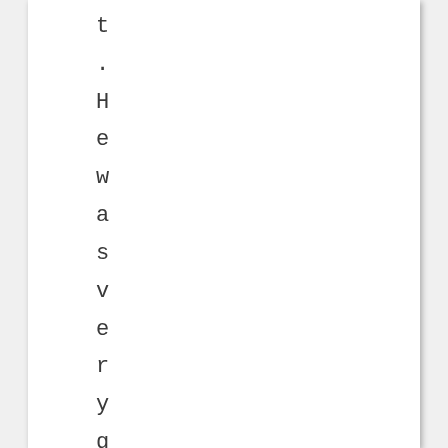t. He was very good looking, an